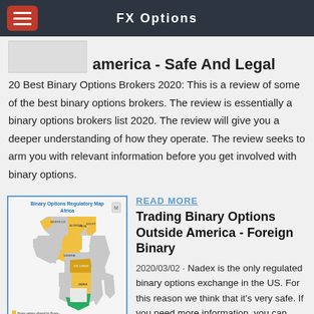FX Options
america - Safe And Legal
20 Best Binary Options Brokers 2020: This is a review of some of the best binary options brokers. The review is essentially a binary options brokers list 2020. The review will give you a deeper understanding of how they operate. The review seeks to arm you with relevant information before you get involved with binary options.
READ MORE
Trading Binary Options Outside America - Foreign Binary
2020/03/02 · Nadex is the only regulated binary options exchange in the US. For this reason we think that it's very safe. If you need more information, you can read
[Figure (map): Binary Options Regulatory Map Africa - showing countries colored in yellow, green, and gray indicating different regulatory statuses]